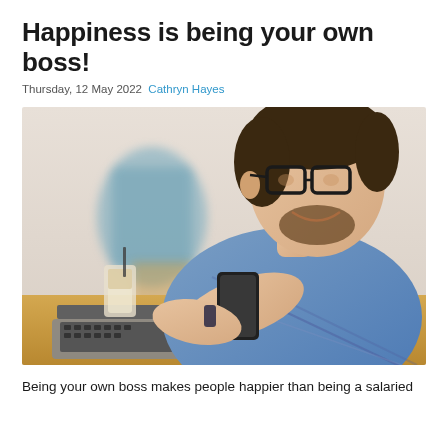Happiness is being your own boss!
Thursday, 12 May 2022 Cathryn Hayes
[Figure (photo): A smiling middle-aged man with glasses and a blue checkered shirt, looking at his smartphone while sitting at a wooden table with a laptop in front of him and a latte drink beside him. Blurred background with a teal chair.]
Being your own boss makes people happier than being a salaried employee...